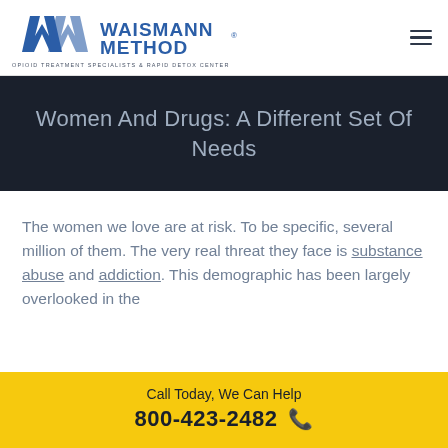Waismann Method — Opioid Treatment Specialists & Rapid Detox Center
Women And Drugs: A Different Set Of Needs
The women we love are at risk. To be specific, several million of them. The very real threat they face is substance abuse and addiction. This demographic has been largely overlooked in the
Call Today, We Can Help 800-423-2482